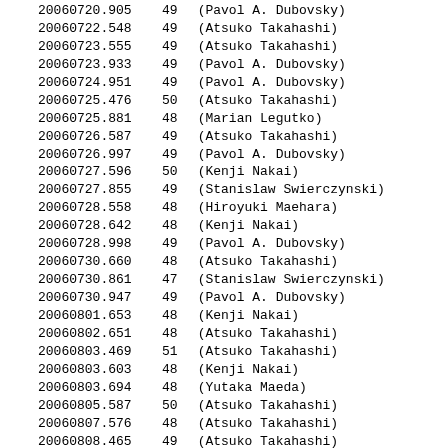| 20060720.905 | 49 | (Pavol A. Dubovsky) |
| 20060722.548 | 49 | (Atsuko Takahashi) |
| 20060723.555 | 49 | (Atsuko Takahashi) |
| 20060723.933 | 49 | (Pavol A. Dubovsky) |
| 20060724.951 | 49 | (Pavol A. Dubovsky) |
| 20060725.476 | 50 | (Atsuko Takahashi) |
| 20060725.881 | 48 | (Marian Legutko) |
| 20060726.587 | 49 | (Atsuko Takahashi) |
| 20060726.997 | 49 | (Pavol A. Dubovsky) |
| 20060727.596 | 50 | (Kenji Nakai) |
| 20060727.855 | 49 | (Stanislaw Swierczynski) |
| 20060728.558 | 48 | (Hiroyuki Maehara) |
| 20060728.642 | 48 | (Kenji Nakai) |
| 20060728.998 | 49 | (Pavol A. Dubovsky) |
| 20060730.660 | 48 | (Atsuko Takahashi) |
| 20060730.861 | 47 | (Stanislaw Swierczynski) |
| 20060730.947 | 49 | (Pavol A. Dubovsky) |
| 20060801.653 | 48 | (Kenji Nakai) |
| 20060802.651 | 48 | (Atsuko Takahashi) |
| 20060803.469 | 51 | (Atsuko Takahashi) |
| 20060803.603 | 48 | (Kenji Nakai) |
| 20060803.694 | 48 | (Yutaka Maeda) |
| 20060805.587 | 50 | (Atsuko Takahashi) |
| 20060807.576 | 48 | (Atsuko Takahashi) |
| 20060808.465 | 49 | (Atsuko Takahashi) |
| 20060809.458 | 48 | (Atsuko Takahashi) |
| 20060809.508 | 48 | (Masashi Nakatani) |
| 20060809.875 | 48 | (Marian Legutko) |
| 20060811.444 | 48 | (Atsuko Takahashi) |
| 20060814.544 | 49 | (Takuichiro Onishi) |
| 20060814.629 | 50 | (Kenji Nakai) |